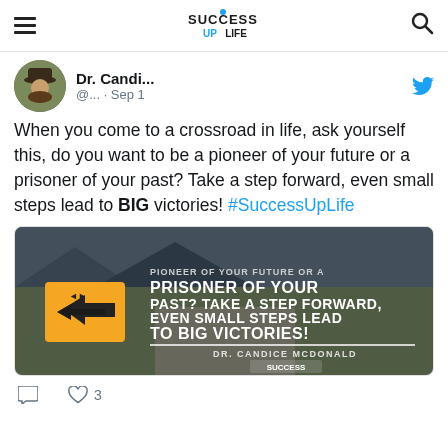Success Up Life (logo/navigation header)
[Figure (screenshot): Twitter/social media post by Dr. Candi... with avatar photo, Twitter bird icon, handle @... · Sep 1, tweet text about crossroads in life, hashtag #SuccessUpLife, and an attached motivational image of a road sign with text 'PIONEER OF YOUR FUTURE OR A PRISONER OF YOUR PAST? TAKE A STEP FORWARD, EVEN SMALL STEPS LEAD TO BIG VICTORIES! DR. CANDICE MCDONALD' with Success Up Life logo, and like/comment action buttons showing 3 likes.]